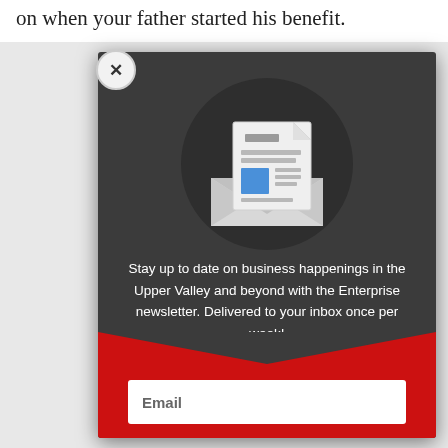on when your father started his benefit.
[Figure (illustration): Newsletter subscription modal popup with a dark gray background. Contains an envelope illustration with a document inside on a dark circle background. Below is promotional text and a red footer with an email input field.]
Stay up to date on business happenings in the Upper Valley and beyond with the Enterprise newsletter. Delivered to your inbox once per week!
Email